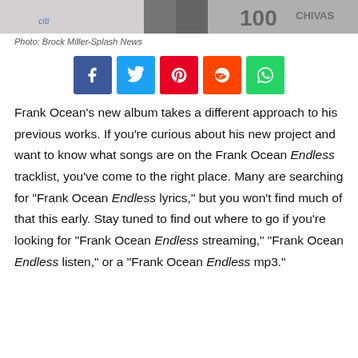[Figure (photo): Partial photo of a person in a suit at an event with logos including Citi and Chivas visible in background]
Photo: Brock Miller-Splash News
[Figure (infographic): Social share buttons: Facebook, Twitter, Pinterest, Reddit, WhatsApp]
Frank Ocean’s new album takes a different approach to his previous works. If you’re curious about his new project and want to know what songs are on the Frank Ocean Endless tracklist, you’ve come to the right place. Many are searching for “Frank Ocean Endless lyrics,” but you won’t find much of that this early. Stay tuned to find out where to go if you’re looking for “Frank Ocean Endless streaming,” “Frank Ocean Endless listen,” or a “Frank Ocean Endless mp3.”